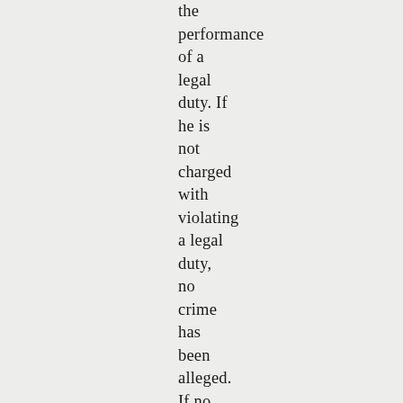the performance of a legal duty. If he is not charged with violating a legal duty, no crime has been alleged. If no crime is alleged, there is no case. If there is